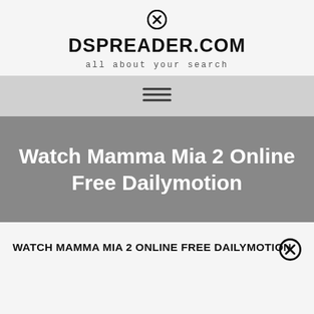[Figure (other): Close/X icon circle at top center]
DSPREADER.COM
all about your search
[Figure (other): Hamburger menu icon (three horizontal lines)]
Watch Mamma Mia 2 Online Free Dailymotion
WATCH MAMMA MIA 2 ONLINE FREE DAILYMOTION
[Figure (other): Close/X icon circle at bottom right]